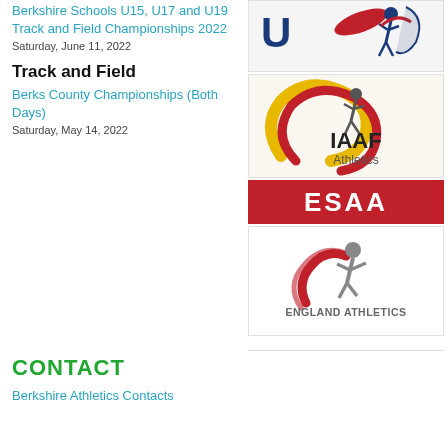Berkshire Schools U15, U17 and U19 Track and Field Championships 2022
Saturday, June 11, 2022
Track and Field
Berks County Championships (Both Days)
Saturday, May 14, 2022
[Figure (logo): UKA (UK Athletics) logo with red, white and blue athlete figure]
[Figure (logo): IAAF Athletics logo - red swirl with athlete figure and text 'IAAF Athletics']
[Figure (logo): ESAA logo - red banner with white bold text 'ESAA']
[Figure (logo): England Athletics logo - grey athlete figure with red swoosh and text 'ENGLAND ATHLETICS']
CONTACT
Berkshire Athletics Contacts